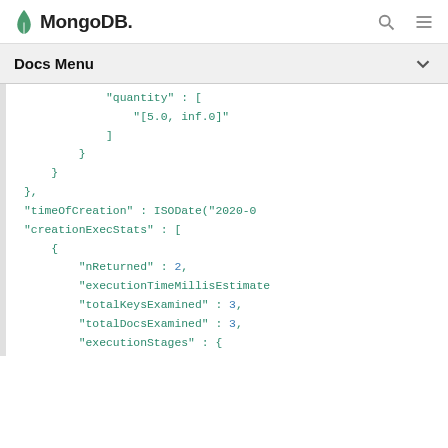MongoDB
Docs Menu
"quantity" : [
    "[5.0, inf.0]"
]
}
}
},
"timeOfCreation" : ISODate("2020-0
"creationExecStats" : [
{
    "nReturned" : 2,
    "executionTimeMillisEstimate
    "totalKeysExamined" : 3,
    "totalDocsExamined" : 3,
    "executionStages" : {